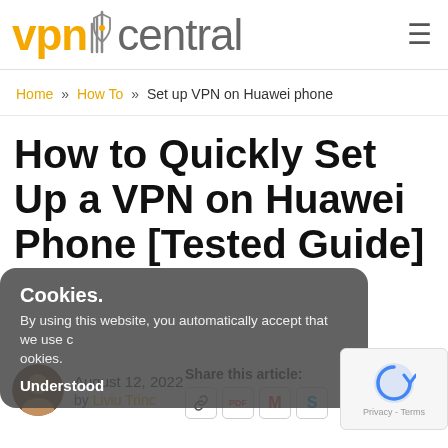vpn central
Home » How To » Set up VPN on Huawei phone
How to Quickly Set Up a VPN on Huawei Phone [Tested Guide]
Cookies. By using this website, you automatically accept that we use cookies. Understood
August 12, 2022 by Liviu Trinc
Share this article: